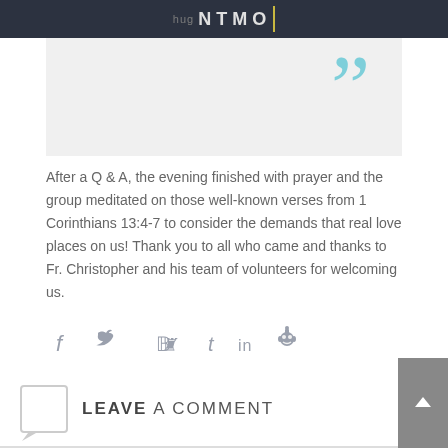hug A NTMOˡ
[Figure (illustration): Light gray box with large teal/cyan closing quotation marks decoratively placed in upper-right area]
After a Q & A, the evening finished with prayer and the group meditated on those well-known verses from 1 Corinthians 13:4-7 to consider the demands that real love places on us! Thank you to all who came and thanks to Fr. Christopher and his team of volunteers for welcoming us.
[Figure (illustration): Social sharing icons: Facebook (f), Twitter (bird), Pinterest (P), Tumblr (t), LinkedIn (in), Reddit (alien)]
LEAVE A COMMENT